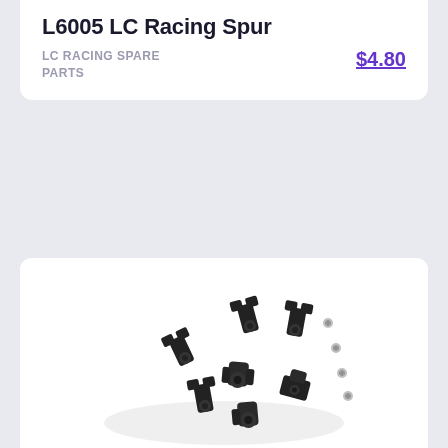L6005 LC Racing Spur
LC RACING SPARE PARTS
$4.80
[Figure (photo): Photo of multiple black plastic RC car suspension/steering knuckle parts scattered on a white background, approximately 6-8 individual black parts with a few small silver screws]
L6007 LC Racing
LC RACING SPARE
$7.00